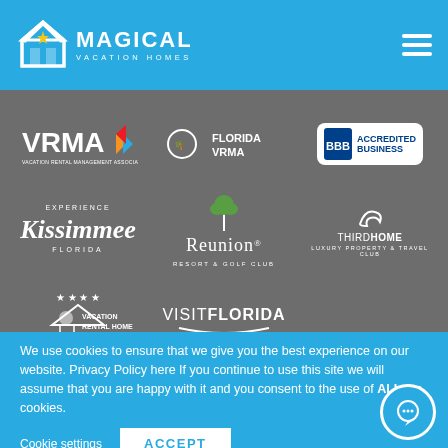[Figure (logo): Magical Vacation Homes logo — house icon with star, white text on blue background]
[Figure (infographic): Grid of partner/affiliation logos: VRMA, Florida VRMA, BBB Accredited Business, Experience Kissimmee Florida, Reunion Resort & Golf Club, ThirdHome Luxury Property & Travel Club, Vacation Rental Home Connection, Visit Florida]
We use cookies to ensure that we give you the best experience on our website. Privacy Policy here If you continue to use this site we will assume that you are happy with it and you consent to the use of ALL the cookies.
Cookie settings
ACCEPT